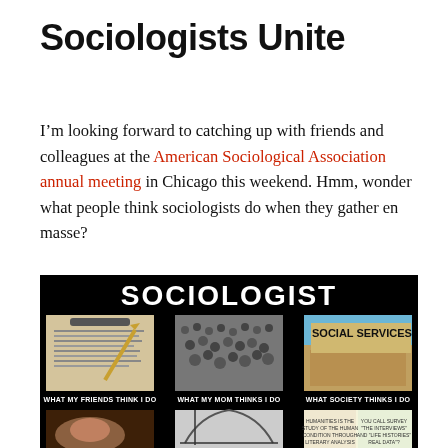Sociologists Unite
I’m looking forward to catching up with friends and colleagues at the American Sociological Association annual meeting in Chicago this weekend. Hmm, wonder what people think sociologists do when they gather en masse?
[Figure (infographic): A meme-style image with black background titled 'SOCIOLOGIST' showing three panels: 'WHAT MY FRIENDS THINK I DO' (clipboard with survey), 'WHAT MY MOM THINKS I DO' (large crowd), 'WHAT SOCIETY THINKS I DO' (Social Services sign), and a partial bottom row with more panels.]